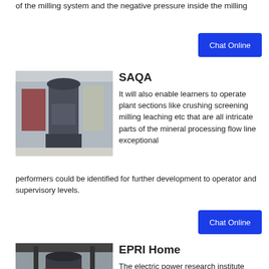of the milling system and the negative pressure inside the milling
[Figure (other): Blue 'Chat Online' button]
[Figure (photo): Industrial milling machine in a factory setting]
SAQA
It will also enable learners to operate plant sections like crushing screening milling leaching etc that are all intricate parts of the mineral processing flow line exceptional performers could be identified for further development to operator and supervisory levels.
[Figure (other): Blue 'Chat Online' button]
[Figure (photo): Industrial vertical milling machine with red accents in a workshop]
EPRI Home
The electric power research institute epri conducts research development and demonstration projects for the benefit of the public in the united states and internationally as an independent nonprofit organization for public interest energy and environmental research we focus on electricity generation delivery and use